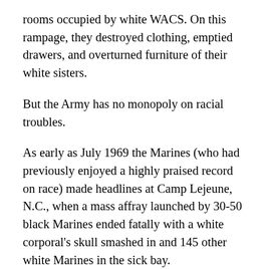rooms occupied by white WACS. On this rampage, they destroyed clothing, emptied drawers, and overturned furniture of their white sisters.
But the Army has no monopoly on racial troubles.
As early as July 1969 the Marines (who had previously enjoyed a highly praised record on race) made headlines at Camp Lejeune, N.C., when a mass affray launched by 30-50 black Marines ended fatally with a white corporal's skull smashed in and 145 other white Marines in the sick bay.
That same year, at Newport, R.I., naval station, blacks killed a white petty officer, while in march 1971 the National Naval Medical Center in Bethesda, Md., outside Washington, was beset by racial fighting so severe that the base enlisted men's club had to be